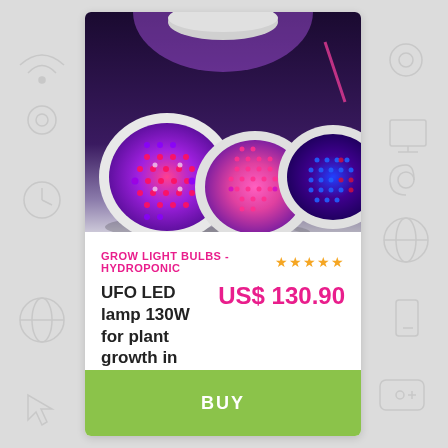[Figure (photo): Three UFO LED grow light bulbs with pink/red/blue LEDs arranged side by side, hanging from ceiling, photographed against dark background]
GROW LIGHT BULBS - HYDROPONIC ★★★★★
UFO LED lamp 130W for plant growth in interior with full color spectrum
US$ 130.90
BUY